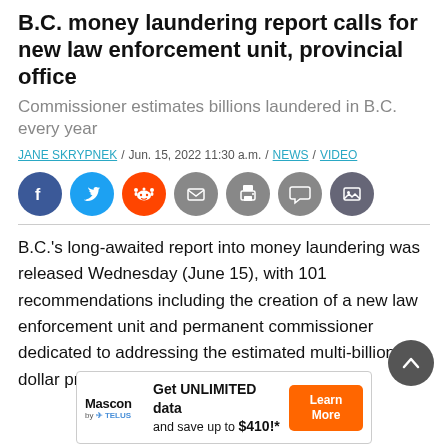B.C. money laundering report calls for new law enforcement unit, provincial office
Commissioner estimates billions laundered in B.C. every year
JANE SKRYPNEK / Jun. 15, 2022 11:30 a.m. / NEWS / VIDEO
[Figure (infographic): Social sharing buttons: Facebook, Twitter, Reddit, Email, Print, Comment, Gallery]
B.C.'s long-awaited report into money laundering was released Wednesday (June 15), with 101 recommendations including the creation of a new law enforcement unit and permanent commissioner dedicated to addressing the estimated multi-billion dollar problem.
[Figure (infographic): Mascon by TELUS advertisement: Get UNLIMITED data and save up to $410!* with Learn More button]